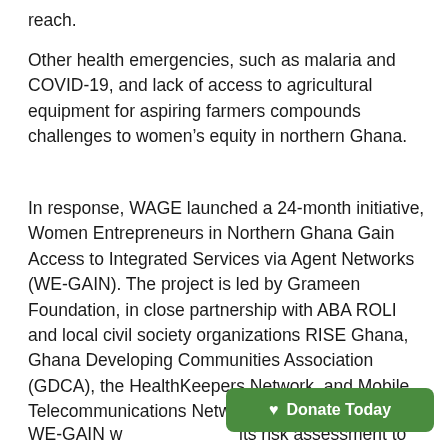reach.
Other health emergencies, such as malaria and COVID-19, and lack of access to agricultural equipment for aspiring farmers compounds challenges to women’s equity in northern Ghana.
In response, WAGE launched a 24-month initiative, Women Entrepreneurs in Northern Ghana Gain Access to Integrated Services via Agent Networks (WE-GAIN). The project is led by Grameen Foundation, in close partnership with ABA ROLI and local civil society organizations RISE Ghana, Ghana Developing Communities Association (GDCA), the HealthKeepers Network, and Mobile Telecommunications Networks Ghana.
WE-GAIN w its risk assessment to
[Figure (other): Green rounded button with heart icon and text 'Donate Today']